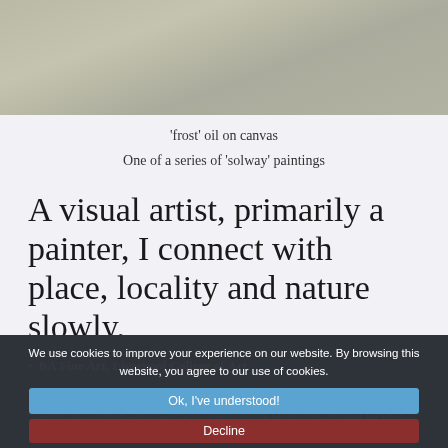[Figure (photo): Partial view of a painting — 'frost' oil on canvas, muted grey-green tones]
'frost' oil on canvas
One of a series of  'solway' paintings
A visual artist, primarily a painter, I connect with place, locality and nature slowly.
CV
BA Fine Art, Liverpool College of Art
BA Art History & Philosophy, Open University
Between 1998 & 2017 Lived in Dumfries & Galloway, setting up two galleries & curating exhibitions.
'Spring Fling' participant, Dumfries & Galloway's open studio trail...
We use cookies to improve your experience on our website. By browsing this website, you agree to our use of cookies.
Ok, I've understood!
Decline
More Info